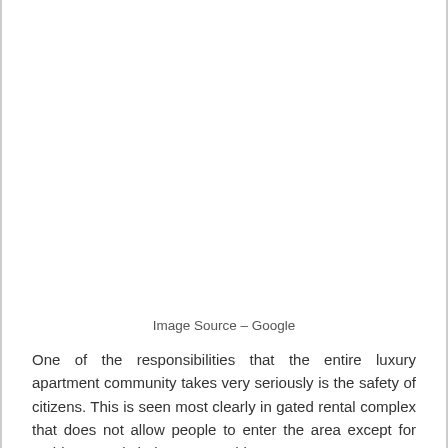[Figure (photo): Image placeholder area (photo not shown)]
Image Source – Google
One of the responsibilities that the entire luxury apartment community takes very seriously is the safety of citizens. This is seen most clearly in gated rental complex that does not allow people to enter the area except for residents and their guests. This creates a very secure environment where everyone can walk in the streets all day without worrying